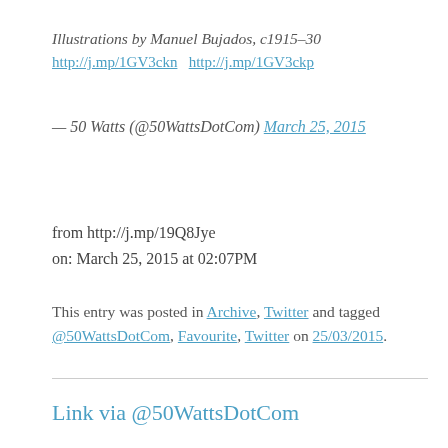Illustrations by Manuel Bujados, c1915–30
http://j.mp/1GV3ckn  http://j.mp/1GV3ckp
— 50 Watts (@50WattsDotCom) March 25, 2015
from http://j.mp/19Q8Jye
on: March 25, 2015 at 02:07PM
This entry was posted in Archive, Twitter and tagged @50WattsDotCom, Favourite, Twitter on 25/03/2015.
Link via @50WattsDotCom